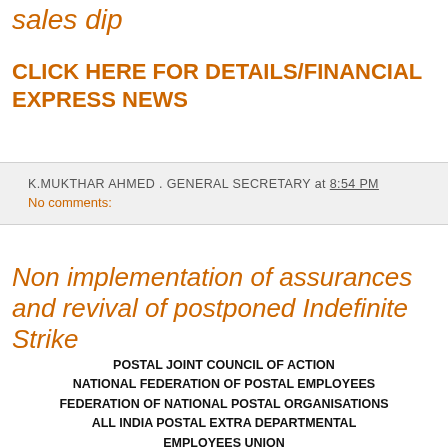sales dip
CLICK HERE FOR DETAILS/FINANCIAL EXPRESS NEWS
K.MUKTHAR AHMED . GENERAL SECRETARY at 8:54 PM
No comments:
Non implementation of assurances and revival of postponed Indefinite Strike
POSTAL JOINT COUNCIL OF ACTION
NATIONAL FEDERATION OF POSTAL EMPLOYEES
FEDERATION OF NATIONAL POSTAL ORGANISATIONS
ALL INDIA POSTAL EXTRA DEPARTMENTAL EMPLOYEES UNION
NATIONAL UNION OF GRAMIN DAK SEVAKS
NEW DELHI